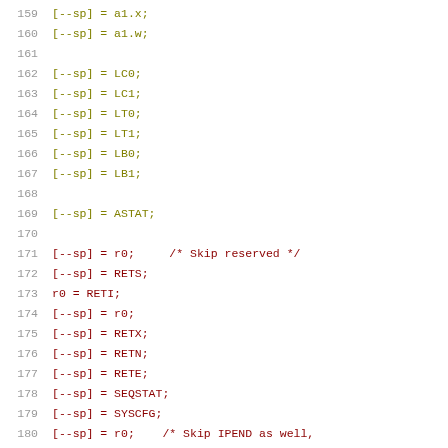Source code listing lines 159-180 showing assembly-like instructions
159    [--sp] = a1.x;
160    [--sp] = a1.w;
161
162    [--sp] = LC0;
163    [--sp] = LC1;
164    [--sp] = LT0;
165    [--sp] = LT1;
166    [--sp] = LB0;
167    [--sp] = LB1;
168
169    [--sp] = ASTAT;
170
171    [--sp] = r0;      /* Skip reserved */
172    [--sp] = RETS;
173    r0 = RETI;
174    [--sp] = r0;
175    [--sp] = RETX;
176    [--sp] = RETN;
177    [--sp] = RETE;
178    [--sp] = SEQSTAT;
179    [--sp] = SYSCFG;
180    [--sp] = r0;      /* Skip IPEND as well,